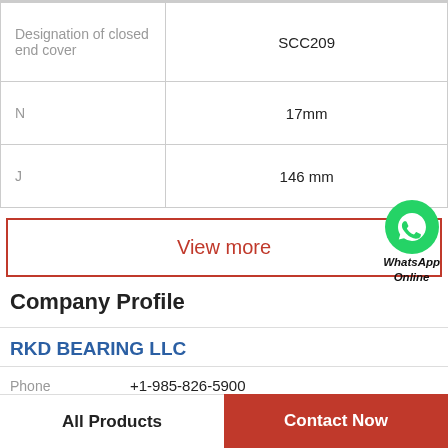| Property | Value |
| --- | --- |
| Designation of closed end cover | SCC209 |
| N | 17mm |
| J | 146 mm |
View more
[Figure (logo): WhatsApp icon (green circle with phone handset) with text 'WhatsApp Online' below]
Company Profile
RKD BEARING LLC
Phone   +1-985-826-5900
All Products
Contact Now